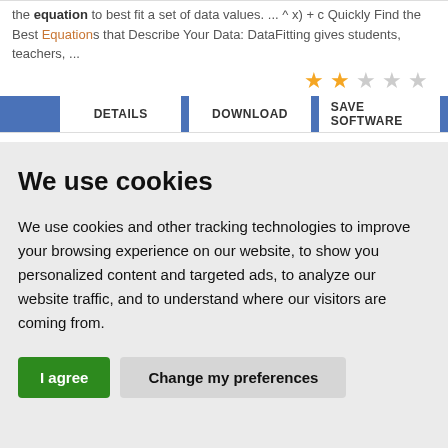the equation to best fit a set of data values. ... ^ x) + c Quickly Find the Best Equations that Describe Your Data: DataFitting gives students, teachers, ...
[Figure (other): Star rating showing 2 out of 5 filled gold stars, 3 empty gray stars]
[Figure (other): Button bar with blue background containing DETAILS, DOWNLOAD, SAVE SOFTWARE buttons]
We use cookies
We use cookies and other tracking technologies to improve your browsing experience on our website, to show you personalized content and targeted ads, to analyze our website traffic, and to understand where our visitors are coming from.
I agree | Change my preferences